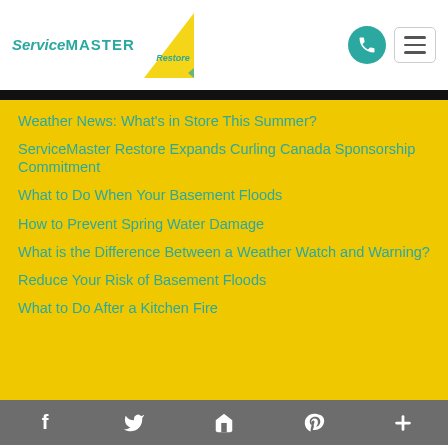[Figure (logo): ServiceMaster Restore logo with yellow triangle and teal text]
Weather News: What's in Store This Summer?
ServiceMaster Restore Expands Curling Canada Sponsorship Commitment
What to Do When Your Basement Floods
How to Prevent Spring Water Damage
What is the Difference Between a Weather Watch and Warning?
Reduce Your Risk of Basement Floods
What to Do After a Kitchen Fire
f  Twitter  Email  Pinterest  +